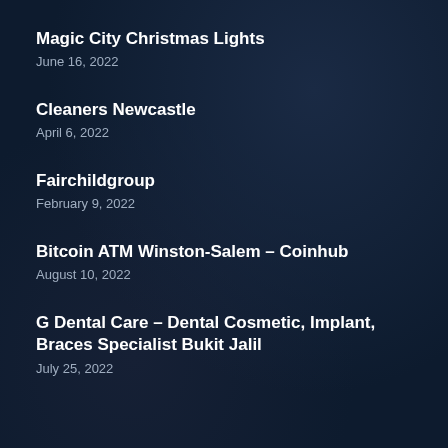Magic City Christmas Lights
June 16, 2022
Cleaners Newcastle
April 6, 2022
Fairchildgroup
February 9, 2022
Bitcoin ATM Winston-Salem – Coinhub
August 10, 2022
G Dental Care – Dental Cosmetic, Implant, Braces Specialist Bukit Jalil
July 25, 2022